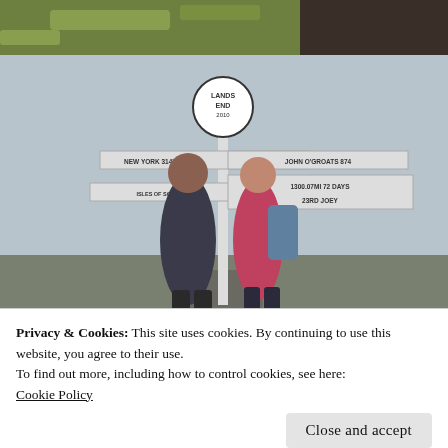[Figure (photo): Top portion of a photo showing grass and a dark animal (likely a horse or dog) at the top edge]
[Figure (photo): Two hikers (a man and a woman with backpacks) standing in front of the Lands End 2010 signpost in foggy conditions. Signpost shows distances including NEW YORK 3147, JOHN O'GROATS 874, and a custom sign reading 1300.07MI 72 DAYS, 23rd JOEY]
Privacy & Cookies: This site uses cookies. By continuing to use this website, you agree to their use.
To find out more, including how to control cookies, see here:
Cookie Policy
Close and accept
[Figure (photo): Bottom strip of another photo, partially visible]